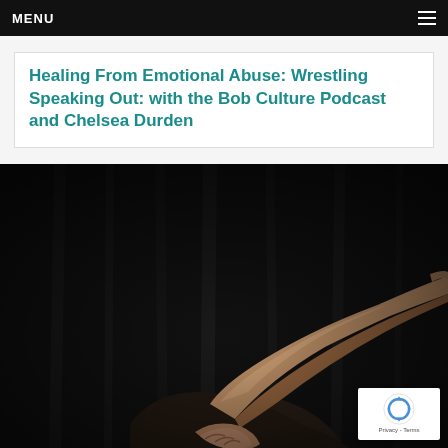MENU
Healing From Emotional Abuse: Wrestling Speaking Out: with the Bob Culture Podcast and Chelsea Durden
[Figure (photo): Dark artistic photograph showing a person's arm and hand extended outward against a very dark background, dramatic lighting highlighting the skin tone.]